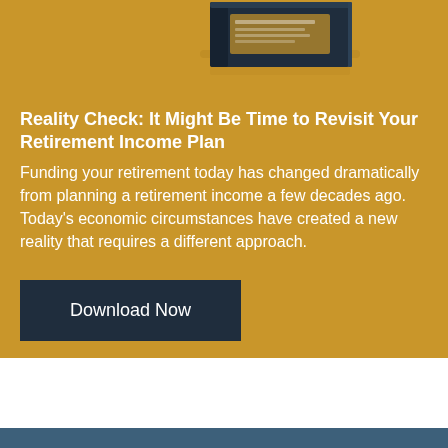[Figure (illustration): Partial view of a book cover with gold background at the top right of the page]
Reality Check: It Might Be Time to Revisit Your Retirement Income Plan
Funding your retirement today has changed dramatically from planning a retirement income a few decades ago. Today's economic circumstances have created a new reality that requires a different approach.
Download Now